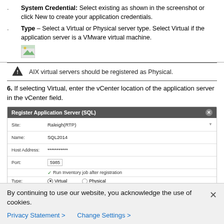System Credential: Select existing as shown in the screenshot or click New to create your application credentials.
Type – Select a Virtual or Physical server type. Select Virtual if the application server is a VMware virtual machine.
[Figure (screenshot): Small screenshot image icon placeholder]
AIX virtual servers should be registered as Physical.
6.  If selecting Virtual, enter the vCenter location of the application server in the vCenter field.
[Figure (screenshot): Register Application Server (SQL) dialog box showing fields: Site: Raleigh(RTP), Name: SQL2014, Host Address: **********, Port: 5985, Run Inventory job after registration checkbox, Type: Virtual (selected), Physical (radio button)]
By continuing to use our website, you acknowledge the use of cookies.
Privacy Statement >  Change Settings >